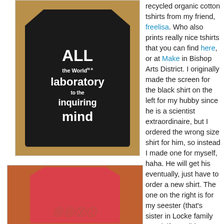[Figure (photo): Black v-neck t-shirt on hanger with white text reading 'All the world is a laboratory to the inquiring mind', displayed against a tan/orange background]
recycled organic cotton tshirts from my friend, freelisa. Who also prints really nice tshirts that you can find here, or at Make in Bishop Arts District. I originally made the screen for the black shirt on the left for my hubby since he is a scientist extraordinaire, but I ordered the wrong size shirt for him, so instead I made one for myself, haha. He will get his eventually, just have to order a new shirt. The one on the right is for my seester (that's sister in Locke family speak if you didn't know), and also made a more kid friendly version for my cousin, Gillian. I have
[Figure (photo): Pink/red v-neck t-shirt on hanger with decorative text, displayed against an orange-brown background]